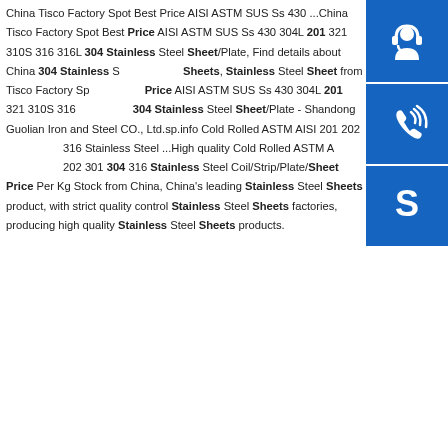China Tisco Factory Spot Best Price AISI ASTM SUS Ss 430 ...China Tisco Factory Spot Best Price AISI ASTM SUS Ss 430 304L 201 321 310S 316 316L 304 Stainless Steel Sheet/Plate, Find details about China 304 Stainless Sheets, Stainless Steel Sheet from Tisco Factory Spot Best Price AISI ASTM SUS Ss 430 304L 201 321 310S 316 304 Stainless Steel Sheet/Plate - Shandong Guolian Iron and Steel CO., Ltd.sp.info Cold Rolled ASTM AISI 201 202 316 Stainless Steel ...High quality Cold Rolled ASTM AISI 202 301 304 316 Stainless Steel Coil/Strip/Plate/Sheet Price Per Kg Stock from China, China's leading Stainless Steel Sheets product, with strict quality control Stainless Steel Sheets factories, producing high quality Stainless Steel Sheets products.
[Figure (illustration): Three blue square icons stacked vertically on the right side: a headset/customer service icon, a phone/call icon, and a Skype logo icon.]